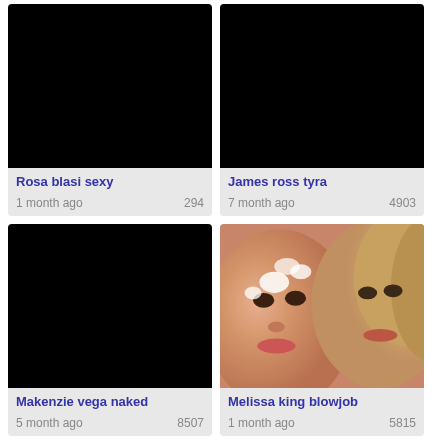[Figure (screenshot): Black thumbnail image for video card 'Rosa blasi sexy']
Rosa blasi sexy
1 month ago   294
[Figure (screenshot): Black thumbnail image for video card 'James ross tyra']
James ross tyra
7 month ago   4903
[Figure (screenshot): Black thumbnail image for video card 'Makenzie vega naked']
Makenzie vega naked
5 month ago   8507
[Figure (photo): Thumbnail photo showing two people's faces close up for 'Melissa king blowjob']
Melissa king blowjob
1 month ago   5815